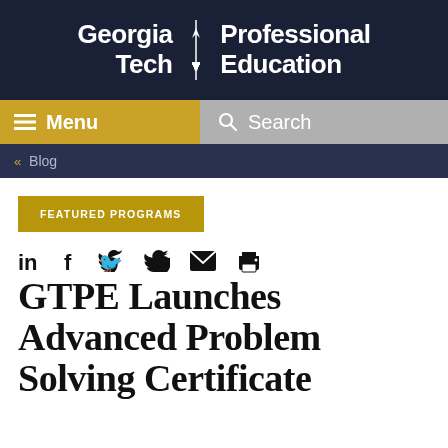[Figure (logo): Georgia Tech Professional Education logo — white bold text on dark navy background with a stylized architectural divider icon]
Menu | Search
« Blog
FEATURED PROGRAMS
[Figure (infographic): Social share icons: LinkedIn (in), Facebook (f), Twitter bird, Email envelope, Print printer]
GTPE Launches Advanced Problem Solving Certificate